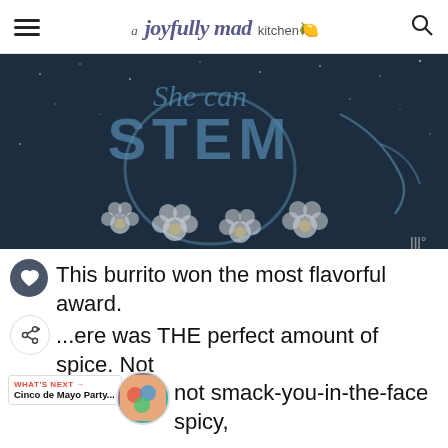a joyfully mad kitchen
[Figure (illustration): Dark navy background illustration with text 'She can STEM' and astronaut helmet with white flowers at the bottom]
This burrito won the most flavorful award.
...ere was THE perfect amount of spice. Not
not smack-you-in-the-face spicy,
just enough to warm you up! I loved the
[Figure (photo): Operation Gratitude advertisement banner with Thank You text and people holding boxes]